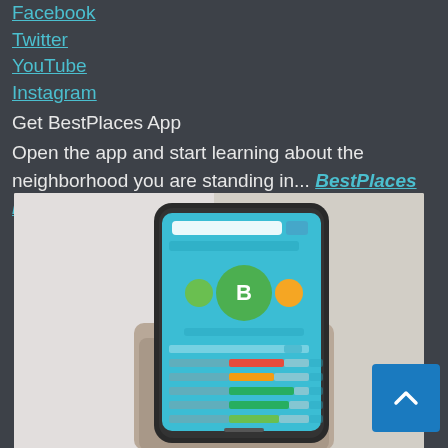Facebook
Twitter
YouTube
Instagram
Get BestPlaces App
Open the app and start learning about the neighborhood you are standing in... BestPlaces Mobile App
[Figure (photo): A hand holding a smartphone displaying the BestPlaces mobile app interface with a score of B and colored bar charts on a blue screen background]
[Figure (other): Scroll to top button with upward chevron arrow, blue background]